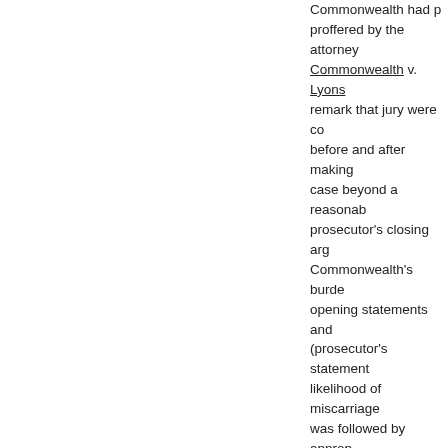Commonwealth had p... proffered by the attorney... Commonwealth v. Lyons... remark that jury were co... before and after making... case beyond a reasonab... prosecutor's closing arg... Commonwealth's burde... opening statements and... (prosecutor's statement... likelihood of miscarriage... was followed by approp... (where prosecutor made... sufficiently prejudicial to...
b.  Inflammatory remarks... can be drawn from the e... Kelly, 417 Mass. 266, 27... the Commonwealth's ca... 745, 748-749 (1999), qu... evidence was inflammat... prosecutor's characteriz... have been drawn from t... murder for hire" was gro... Massachusetts while he... master," while perhaps h... cases cited ("The prosec... hyperbole,' and did not c...
Moreover, even if certai...